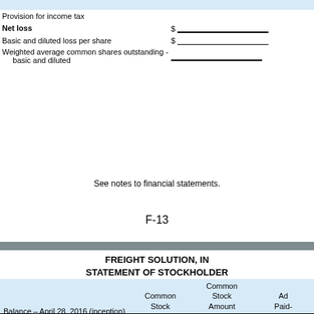|  |  |
| --- | --- |
| Provision for income tax |  |
| Net loss | $ |
| Basic and diluted loss per share | $ |
| Weighted average common shares outstanding - basic and diluted |  |
See notes to financial statements.
F-13
FREIGHT SOLUTION, INC.
STATEMENT OF STOCKHOLDERS'
|  | Common Stock | Common Stock Amount | Additional Paid-in |
| --- | --- | --- | --- |
| Balance – April 28, 2016 (inception) |  |  |  |